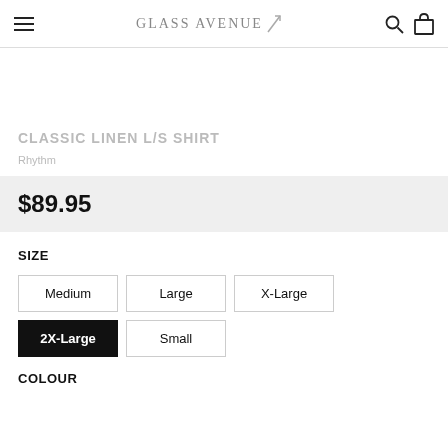Glass Avenue
CLASSIC LINEN L/S SHIRT
Rhythm
$89.95
SIZE
Medium
Large
X-Large
2X-Large (selected)
Small
COLOUR